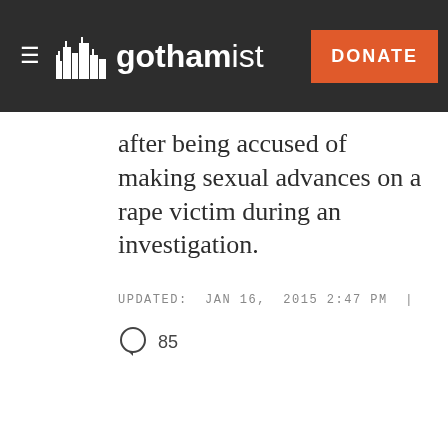gothamist — DONATE
after being accused of making sexual advances on a rape victim during an investigation.
UPDATED: JAN 16, 2015 2:47 PM |
85